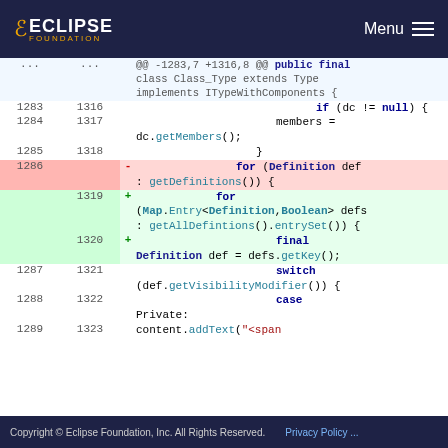Eclipse Foundation — Menu
[Figure (screenshot): Code diff view showing changes to a Java class. Lines 1283-1289 on left (old), 1316-1323 on right (new). Includes a removed for loop over getDefinitions() and added for loop over Map.Entry<Definition,Boolean> from getAllDefintions().entrySet(), plus context lines showing switch statement and case Private.]
Copyright © Eclipse Foundation, Inc. All Rights Reserved.    Privacy Policy ...